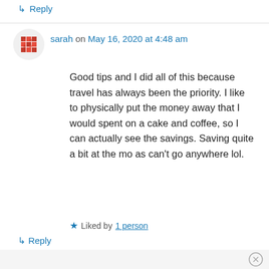↳ Reply
sarah on May 16, 2020 at 4:48 am
Good tips and I did all of this because travel has always been the priority. I like to physically put the money away that I would spent on a cake and coffee, so I can actually see the savings. Saving quite a bit at the mo as can't go anywhere lol.
★ Liked by 1 person
↳ Reply
Advertisements
[Figure (screenshot): WordPress advertisement banner: 'Opinions. We all have them!' with WordPress and Daily Post logos on dark navy background]